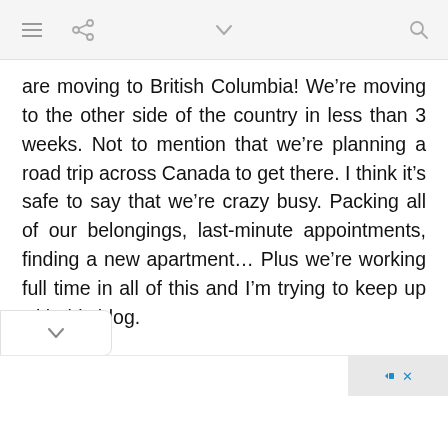[menu icon] [share icon] [chevron down] [search icon]
are moving to British Columbia! We’re moving to the other side of the country in less than 3 weeks. Not to mention that we’re planning a road trip across Canada to get there. I think it’s safe to say that we’re crazy busy. Packing all of our belongings, last-minute appointments, finding a new apartment… Plus we’re working full time in all of this and I’m trying to keep up with this blog.